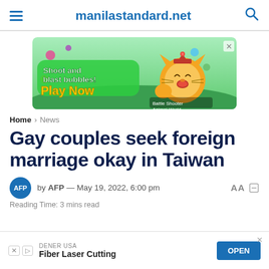manilastandard.net
[Figure (illustration): Mobile game advertisement with text 'Shoot and blast bubbles! Play Now' and cartoon animal characters on green background. Battle Shooter Animal World game ad.]
Home > News
Gay couples seek foreign marriage okay in Taiwan
by AFP — May 19, 2022, 6:00 pm
Reading Time: 3 mins read
[Figure (illustration): Bottom banner ad for DENER USA Fiber Laser Cutting with OPEN button]